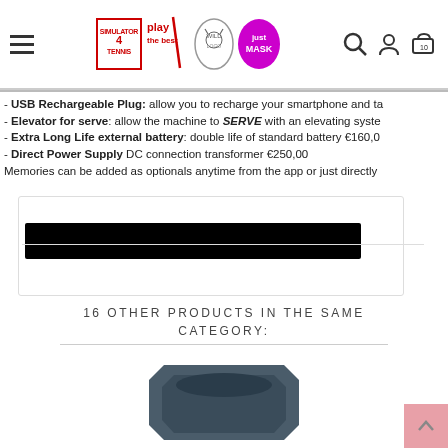Navigation header with logos: Simulator 4 Tennis, Play the Best, oval logo, Just Mask, plus search, user, and cart icons
- USB Rechargeable Plug: allow you to recharge your smartphone and ta
- Elevator for serve: allow the machine to SERVE with an elevating syste
- Extra Long Life external battery: double life of standard battery €160,0
- Direct Power Supply DC connection transformer €250,00
Memories can be added as optionals anytime from the app or just directly
[Figure (other): Black redacted bar inside a product card / panel]
16 OTHER PRODUCTS IN THE SAME CATEGORY:
[Figure (photo): Dark blue/grey angular shaped product (tennis ball hopper or similar) viewed from slightly above]